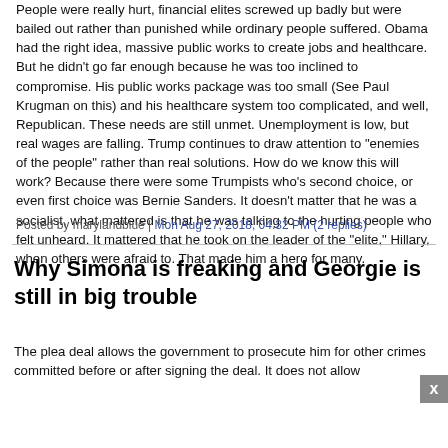People were really hurt, financial elites screwed up badly but were bailed out rather than punished while ordinary people suffered. Obama had the right idea, massive public works to create jobs and healthcare. But he didn't go far enough because he was too inclined to compromise. His public works package was too small (See Paul Krugman on this) and his healthcare system too complicated, and well, Republican. These needs are still unmet. Unemployment is low, but real wages are falling. Trump continues to draw attention to "enemies of the people" rather than real solutions. How do we know this will work? Because there were some Trumpists who's second choice, or even first choice was Bernie Sanders. It doesn't matter that he was a socialist, what mattered is that he was talking to the hurting people who felt unheard. It mattered that he took on the leader of the "elite," Hillary, when others were afraid to. That made him a hero for many.
Posted by marylandblue | Mon Aug 27, 2018, 04:32 PM (2 replies)
Why Simona is freaking and Georgie is still in big trouble
The plea deal allows the government to prosecute him for other crimes committed before or after signing the deal. It does not allow